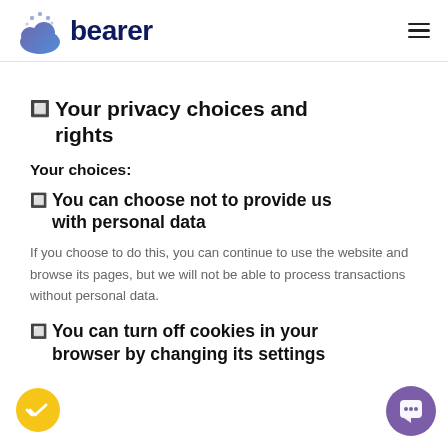bearer
🔲 Your privacy choices and rights
Your choices:
🔲 You can choose not to provide us with personal data
If you choose to do this, you can continue to use the website and browse its pages, but we will not be able to process transactions without personal data.
🔲 You can turn off cookies in your browser by changing its settings